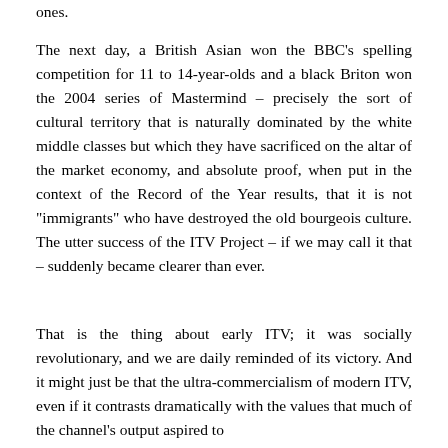ones.
The next day, a British Asian won the BBC’s spelling competition for 11 to 14-year-olds and a black Briton won the 2004 series of Mastermind – precisely the sort of cultural territory that is naturally dominated by the white middle classes but which they have sacrificed on the altar of the market economy, and absolute proof, when put in the context of the Record of the Year results, that it is not “immigrants” who have destroyed the old bourgeois culture. The utter success of the ITV Project – if we may call it that – suddenly became clearer than ever.
That is the thing about early ITV; it was socially revolutionary, and we are daily reminded of its victory. And it might just be that the ultra-commercialism of modern ITV, even if it contrasts dramatically with the values that much of the channel’s output aspired to